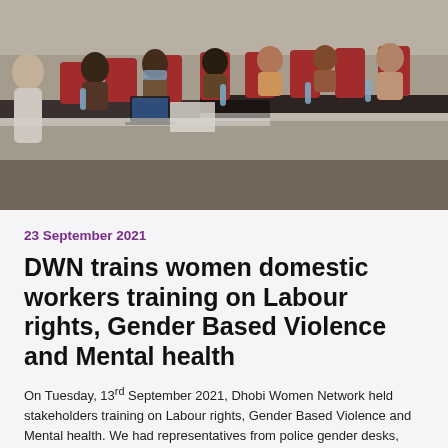[Figure (photo): A conference/training room scene with people seated at long tables covered with black and white patterned tablecloths and red chairs. A presenter stands at the left. Participants wear face masks. Water bottles are on the tables. The setting appears to be a formal training event.]
23 September 2021
DWN trains women domestic workers training on Labour rights, Gender Based Violence and Mental health
On Tuesday, 13rd September 2021, Dhobi Women Network held stakeholders training on Labour rights, Gender Based Violence and Mental health. We had representatives from police gender desks, administration,County Government Mombasa,union KUDHEIHA,CSOs network in Mombasa Kituo Cha Sheria, Ekiis Hewa, Coalition among others. Melo looked at the